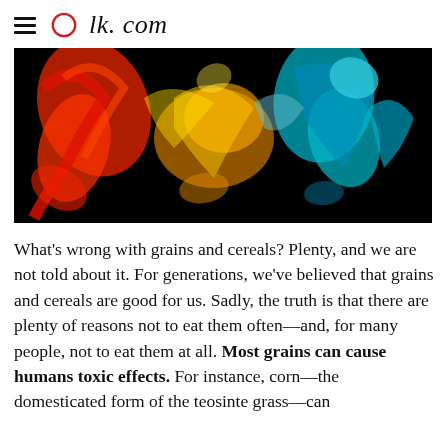≡ Olk.com
[Figure (photo): Abstract colorful ink swirls (red, blue, yellow, teal, orange) on a black background, viewed from above, resembling a parrot or bird shape.]
What's wrong with grains and cereals? Plenty, and we are not told about it. For generations, we've believed that grains and cereals are good for us. Sadly, the truth is that there are plenty of reasons not to eat them often—and, for many people, not to eat them at all. Most grains can cause humans toxic effects. For instance, corn—the domesticated form of the teosinte grass—can